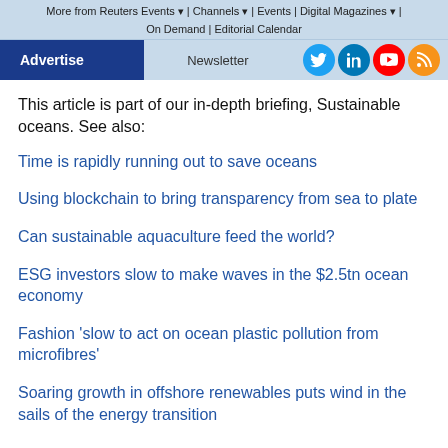More from Reuters Events | Channels | Events | Digital Magazines | On Demand | Editorial Calendar
Advertise | Newsletter
This article is part of our in-depth briefing, Sustainable oceans. See also:
Time is rapidly running out to save oceans
Using blockchain to bring transparency from sea to plate
Can sustainable aquaculture feed the world?
ESG investors slow to make waves in the $2.5tn ocean economy
Fashion 'slow to act on ocean plastic pollution from microfibres'
Soaring growth in offshore renewables puts wind in the sails of the energy transition